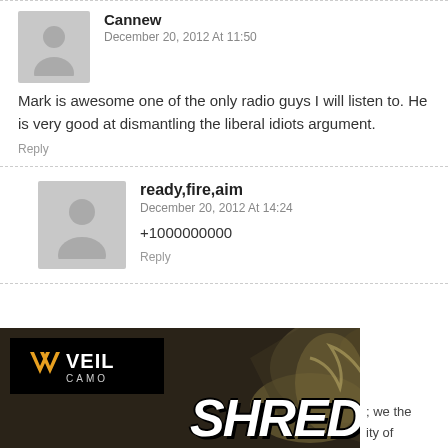Cannew
December 20, 2012 At 11:50
Mark is awesome one of the only radio guys I will listen to. He is very good at dismantling the liberal idiots argument.
Reply
ready,fire,aim
December 20, 2012 At 14:24
+1000000000
Reply
[Figure (photo): Advertisement banner for VEIL CAMO with SHRED text overlay and camouflage background imagery. Partial text visible: '; we the' and 'ity of']